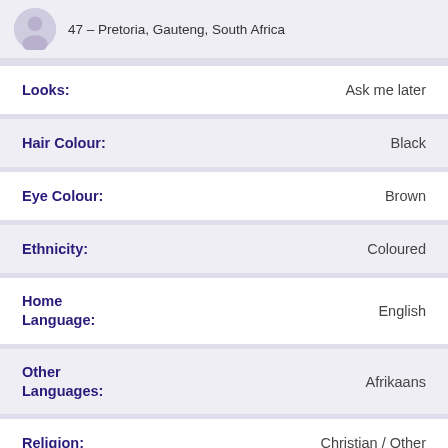47 – Pretoria, Gauteng, South Africa
| Attribute | Value |
| --- | --- |
| Looks: | Ask me later |
| Hair Colour: | Black |
| Eye Colour: | Brown |
| Ethnicity: | Coloured |
| Home Language: | English |
| Other Languages: | Afrikaans |
| Religion: | Christian / Other |